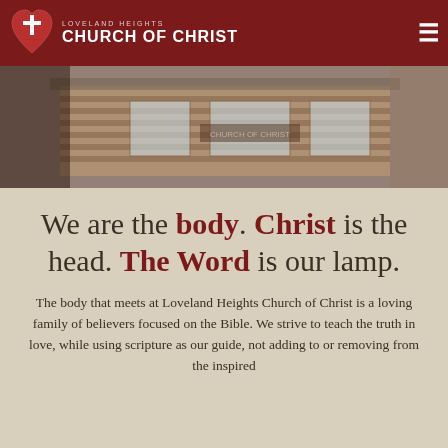[Figure (logo): Loveland Heights Church of Christ logo — white heart with cross on dark red background, with church name text]
[Figure (photo): Exterior photo of Loveland Heights Church of Christ building — brick facade with windows, muted/faded tones]
We are the body. Christ is the head. The Word is our lamp.
The body that meets at Loveland Heights Church of Christ is a loving family of believers focused on the Bible. We strive to teach the truth in love, while using scripture as our guide, not adding to or removing from the inspired